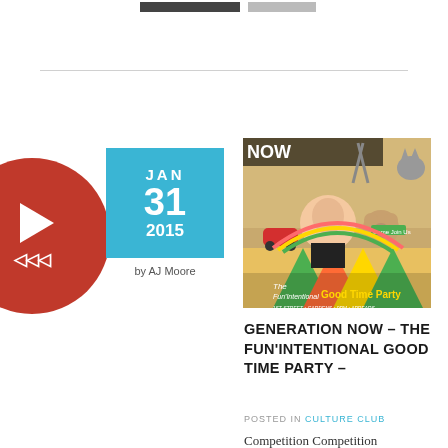[Figure (other): Two navigation buttons at top of page]
[Figure (illustration): Red circular play button icon with triangle and rewind arrows]
[Figure (other): Cyan/blue date box showing JAN 31 2015 with author 'by AJ Moore']
[Figure (photo): Event poster for 'Generation Now – The Fun'intentional Good Time Party' with collage of images including people, animals, and colorful graphics]
GENERATION NOW – THE FUN'INTENTIONAL GOOD TIME PARTY –
POSTED IN CULTURE CLUB
Competition Competition